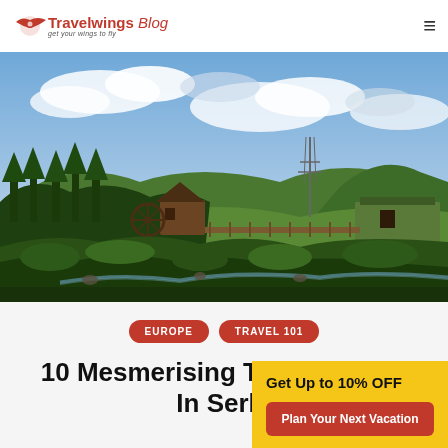Travelwings Blog — get your wings to fly
[Figure (photo): Panoramic landscape photo of a traditional wooden village with water wheel, nestled among green forested hills under a dramatic cloudy sky in Serbia]
EUROPE
TRAVEL 101
10 Mesmerising Things To Do In Serbia
Get Up to 10% OFF
Plan Your Next Vacation